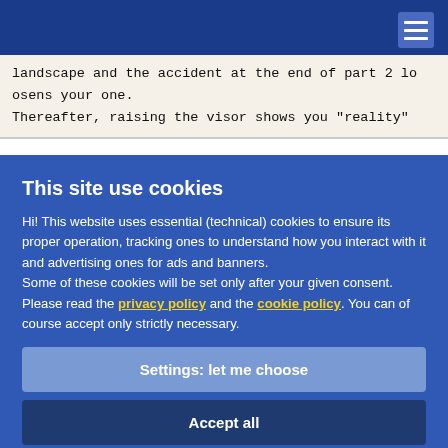landscape and the accident at the end of part 2 loosens your one.
Thereafter, raising the visor shows you "reality"
This site use cookies
Hi! This website uses essential (technical) cookies to ensure its proper operation, tracking ones to understand how you interact with it and advertising ones for ads and banners.
Some of these cookies will be set only after your given consent.
Please read the privacy policy and the cookie policy. You can of course accept only strictly necessary.
Settings: let me choose
Accept all